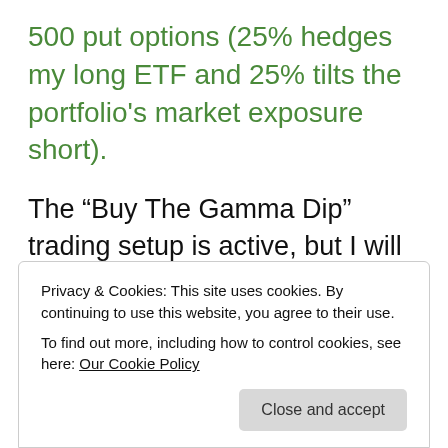500 put options (25% hedges my long ETF and 25% tilts the portfolio's market exposure short).
The “Buy The Gamma Dip” trading setup is active, but I will not enter new positions during a window of potential weakness from 1/11 to 1/25.
The basic idea is now changing to expect a
Privacy & Cookies: This site uses cookies. By continuing to use this website, you agree to their use.
To find out more, including how to control cookies, see here: Our Cookie Policy